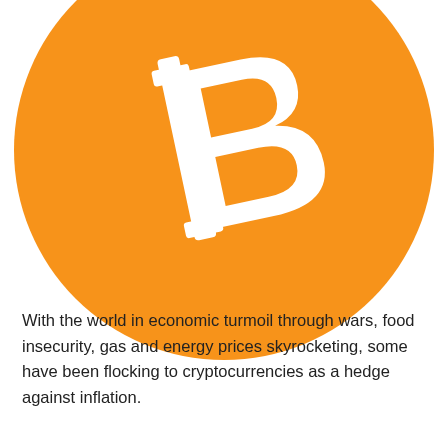[Figure (logo): Bitcoin logo — large orange circle with white Bitcoin 'B' symbol (with two vertical strokes through it), cropped so the top and sides slightly overflow the frame]
With the world in economic turmoil through wars, food insecurity, gas and energy prices skyrocketing, some have been flocking to cryptocurrencies as a hedge against inflation.